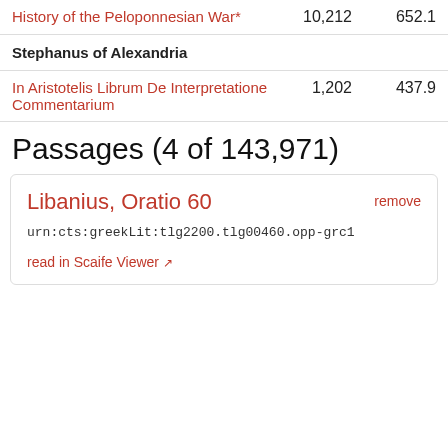| Work | Words | Score |
| --- | --- | --- |
| History of the Peloponnesian War* | 10,212 | 652.1 |
| Stephanus of Alexandria |  |  |
| In Aristotelis Librum De Interpretatione Commentarium | 1,202 | 437.9 |
Passages (4 of 143,971)
Libanius, Oratio 60
urn:cts:greekLit:tlg2200.tlg00460.opp-grc1
read in Scaife Viewer